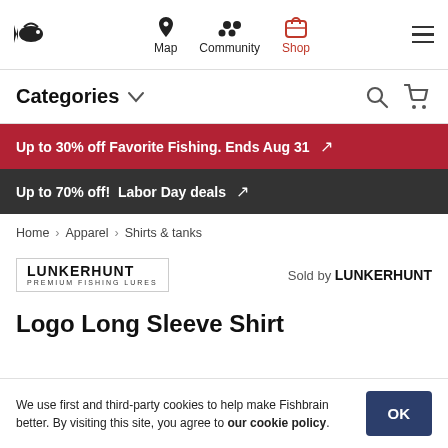[Figure (screenshot): Fishbrain app navigation bar with fish logo, Map, Community, Shop icons, and hamburger menu]
Categories
Up to 30% off Favorite Fishing. Ends Aug 31
Up to 70% off! Labor Day deals
Home > Apparel > Shirts & tanks
[Figure (logo): Lunkerhunt Premium Fishing Lures logo]
Sold by LUNKERHUNT
Logo Long Sleeve Shirt
We use first and third-party cookies to help make Fishbrain better. By visiting this site, you agree to our cookie policy.